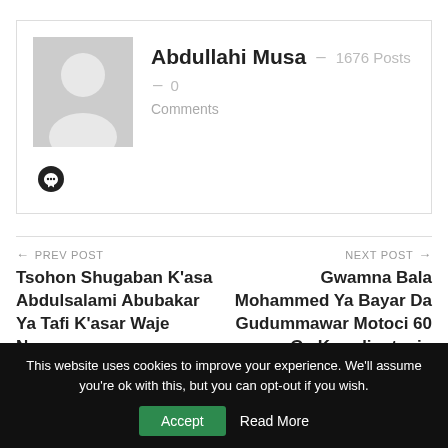[Figure (photo): Author profile card with avatar placeholder (gray silhouette), name 'Abdullahi Musa', 1676 Posts, 0 Comments, and a social icon]
Abdullahi Musa  -  1676 Posts  -  0
Comments
← PREV POST
Tsohon Shugaban K'asa Abdulsalami Abubakar Ya Tafi K'asar Waje Neman
NEXT POST →
Gwamna Bala Mohammed Ya Bayar Da Gudummawar Motoci 60 Ga Ko-odinetocin
This website uses cookies to improve your experience. We'll assume you're ok with this, but you can opt-out if you wish.
Accept   Read More